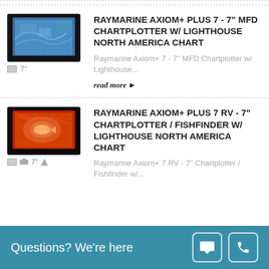[Figure (photo): Raymarine Axiom+ 7 chartplotter device with map display and small feature icons below]
RAYMARINE AXIOM+ PLUS 7 - 7" MFD CHARTPLOTTER W/ LIGHTHOUSE NORTH AMERICA CHART
Raymarine Axiom+ 7 - 7" MFD Chartplotter w/ Lighthouse...
read more ▶
[Figure (photo): Raymarine Axiom+ 7 RV fishfinder/chartplotter device with red sonar display and small feature icons below]
RAYMARINE AXIOM+ PLUS 7 RV - 7" CHARTPLOTTER / FISHFINDER W/ LIGHTHOUSE NORTH AMERICA CHART
Raymarine Axiom+ 7 RV - 7" Chartplotter / Fishfinder w/...
Questions? We're here